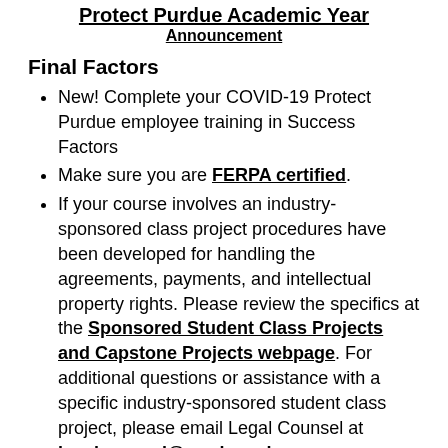Protect Purdue Academic Year Announcement
Final Factors
New! Complete your COVID-19 Protect Purdue employee training in Success Factors
Make sure you are FERPA certified.
If your course involves an industry-sponsored class project procedures have been developed for handling the agreements, payments, and intellectual property rights. Please review the specifics at the Sponsored Student Class Projects and Capstone Projects webpage. For additional questions or assistance with a specific industry-sponsored student class project, please email Legal Counsel at legalcounsel@purdue.edu